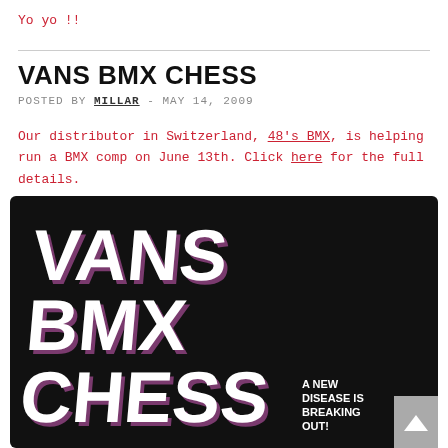Yo yo !!
VANS BMX CHESS
POSTED BY MILLAR - MAY 14, 2009
Our distributor in Switzerland, 48's BMX, is helping run a BMX comp on June 13th. Click here for the full details.
[Figure (photo): Promotional image for Vans BMX Chess event. Black background with large white graffiti-style text reading 'VANS BMX CHESS' with purple shadow/fill, and smaller text in bottom right reading 'A NEW DISEASE IS BREAKING OUT!']